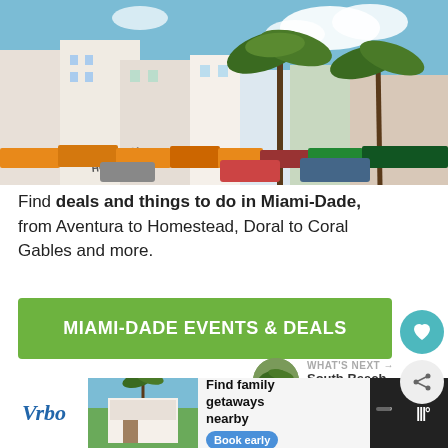[Figure (photo): Street scene of Miami-Dade with Art Deco hotels, colorful umbrellas/awnings, palm trees against blue sky. Beacon Hotel sign visible on left.]
Find deals and things to do in Miami-Dade, from Aventura to Homestead, Doral to Coral Gables and more.
MIAMI-DADE EVENTS & DEALS
WHAT'S NEXT → South Beach Shopping
BROWARD EVENTS & DEALS
[Figure (screenshot): Vrbo advertisement banner: Find family getaways nearby. Book early button.]